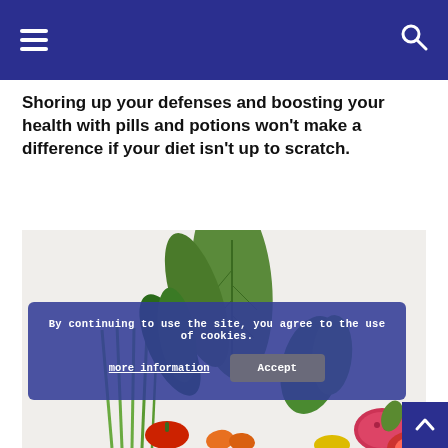Navigation header with menu and search icons
Shoring up your defenses and boosting your health with pills and potions won't make a difference if your diet isn't up to scratch.
[Figure (photo): Photo of various green leafy plants, herbs, and colorful vegetables including carrots, peppers, and a fig on a white background]
By continuing to use the site, you agree to the use of cookies.
more information | Accept